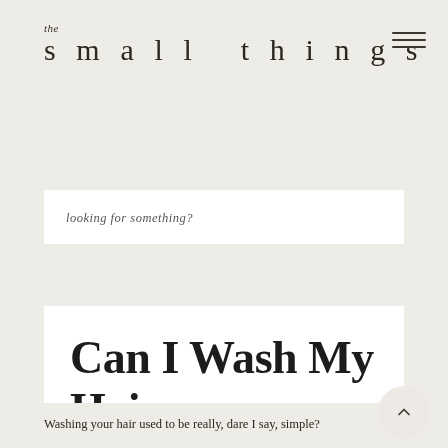the small things
looking for something?
Can I Wash My Hair Every Day?
beauty · 1 year ago · 82 comments
Washing your hair used to be really, dare I say, simple?